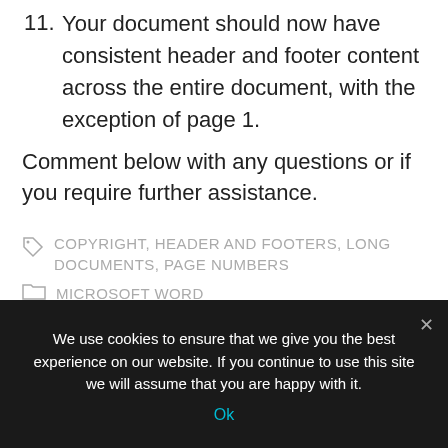11. Your document should now have consistent header and footer content across the entire document, with the exception of page 1.
Comment below with any questions or if you require further assistance.
COPYRIGHT, HEADER AND FOOTERS, LONG DOCUMENTS, PAGE NUMBERS
MICROSOFT WORD
We use cookies to ensure that we give you the best experience on our website. If you continue to use this site we will assume that you are happy with it.
Ok